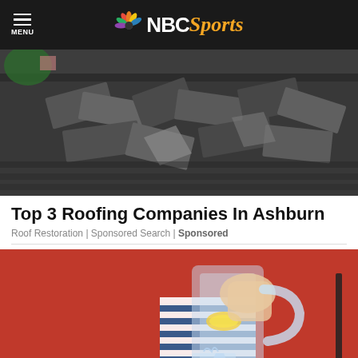NBC Sports
[Figure (photo): Damaged roof with broken and lifted dark asphalt shingles, with a house and tree visible in background]
Top 3 Roofing Companies In Ashburn
Roof Restoration | Sponsored Search | Sponsored
[Figure (photo): Person in red sweater pouring lemonade from a glass pitcher into a glass]